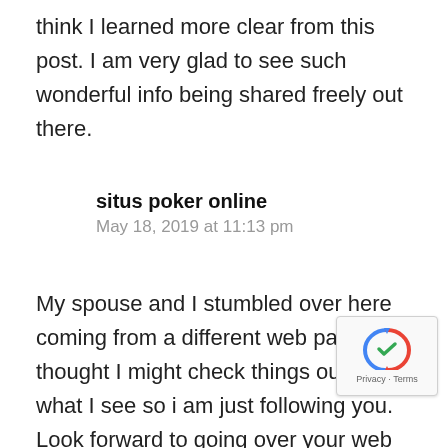think I learned more clear from this post. I am very glad to see such wonderful info being shared freely out there.
situs poker online
May 18, 2019 at 11:13 pm
My spouse and I stumbled over here coming from a different web page and thought I might check things out. I like what I see so i am just following you. Look forward to going over your web page for a second time.
[Figure (other): reCAPTCHA badge with Privacy and Terms links]